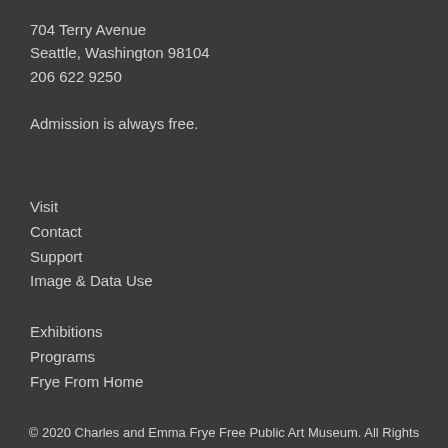704 Terry Avenue
Seattle, Washington 98104
206 622 9250
Admission is always free.
Visit
Contact
Support
Image & Data Use
Exhibitions
Programs
Frye From Home
© 2020 Charles and Emma Frye Free Public Art Museum. All Rights